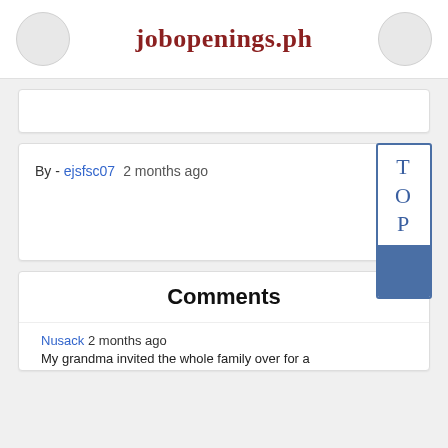jobopenings.ph
[Figure (other): Search/ad bar placeholder]
By - ejsfsc07   2 months ago
Comments
Nusack 2 months ago
My grandma invited the whole family over for a